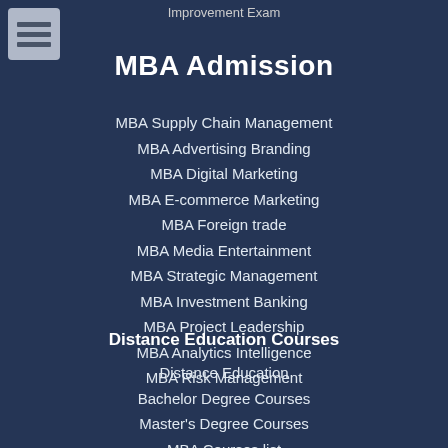Improvement Exam
MBA Admission
MBA Supply Chain Management
MBA Advertising Branding
MBA Digital Marketing
MBA E-commerce Marketing
MBA Foreign trade
MBA Media Entertainment
MBA Strategic Management
MBA Investment Banking
MBA Project Leadership
MBA Analytics Intelligence
MBA Risk Management
Distance Education Courses
Distance Education
Bachelor Degree Courses
Master's Degree Courses
MBA Courses list
Sol Du Admission